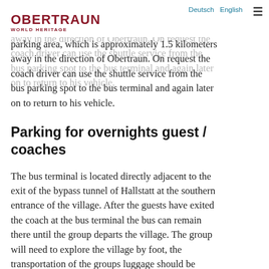Deutsch  English
OBERTRAUN
WORLD HERITAGE
After drop off, the coach must then head to the bus parking area, which is approximately 1.5 kilometers away in the direction of Obertraun. On request the coach driver can use the shuttle service from the bus parking spot to the bus terminal and again later on to return to his vehicle.
Parking for overnights guest / coaches
The bus terminal is located directly adjacent to the exit of the bypass tunnel of Hallstatt at the southern entrance of the village. After the guests have exited the coach at the bus terminal the bus can remain there until the group departs the village. The group will need to explore the village by foot, the transportation of the groups luggage should be